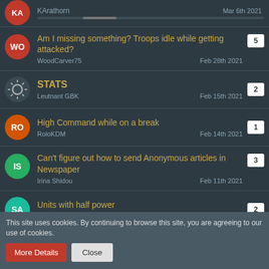KArathorn | Mar 6th 2021
Am I missing something? Troops idle while getting attacked? | WoodCarver75 | Feb 28th 2021 | 5
STATS | Leutnant GBK | Feb 15th 2021 | 2
High Command while on a break | RoloKDM | Feb 14th 2021 | 1
Can't figure out how to send Anonymous articles in Newspaper | Irina Shidou | Feb 11th 2021 | 3
Units with half power | Sande3man | Feb 11th 2021 | 2
This site uses cookies. By continuing to browse this site, you are agreeing to our use of cookies.